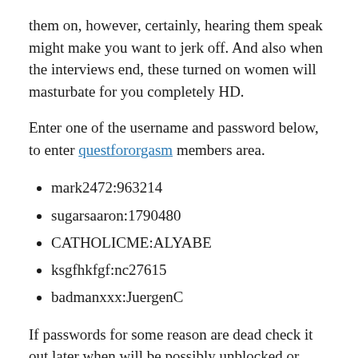them on, however, certainly, hearing them speak might make you want to jerk off. And also when the interviews end, these turned on women will masturbate for you completely HD.
Enter one of the username and password below, to enter questfororgasm members area.
mark2472:963214
sugarsaaron:1790480
CATHOLICME:ALYABE
ksgfhkfgf:nc27615
badmanxxx:JuergenC
If passwords for some reason are dead check it out later when will be possibly unblocked or